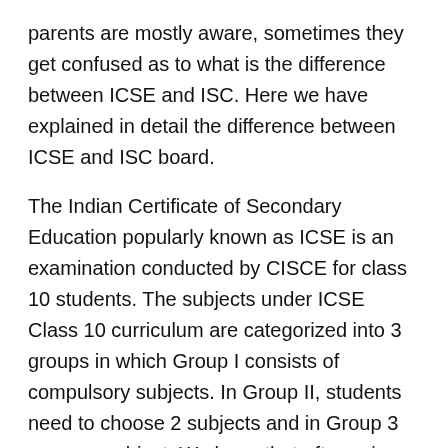parents are mostly aware, sometimes they get confused as to what is the difference between ICSE and ISC. Here we have explained in detail the difference between ICSE and ISC board.
The Indian Certificate of Secondary Education popularly known as ICSE is an examination conducted by CISCE for class 10 students. The subjects under ICSE Class 10 curriculum are categorized into 3 groups in which Group I consists of compulsory subjects. In Group II, students need to choose 2 subjects and in Group 3 any one subject. We hope that after going through this information, students and parents must have got the clarity of the ICSE and ISC board. We recommend students to keep learning and exploring things around them.